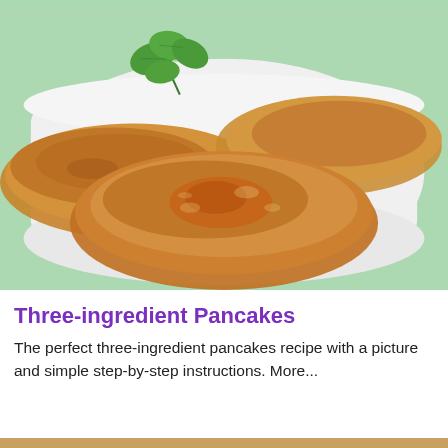[Figure (photo): Photo of golden-brown pancakes on a white square plate with a green mint garnish, set against a light green background]
Three-ingredient Pancakes
The perfect three-ingredient pancakes recipe with a picture and simple step-by-step instructions. More...